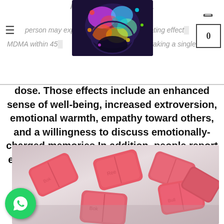Acco[...] MDMA — person may exp[erience into]xicating effect[s of] MDMA within 45[mins af]ter taking a single
dose. Those effects include an enhanced sense of well-being, increased extroversion, emotional warmth, empathy toward others, and a willingness to discuss emotionally-charged memories. In addition, people report enhanced sensory perception as a hallmark of the MDMA experience.
[Figure (photo): Pink MDMA ecstasy pills/tablets stacked on a light surface]
[Figure (logo): WhatsApp logo green circle button overlay in bottom left corner]
[Figure (illustration): Colorful brain illustration with rainbow colors overlay on dark background, used as page header image]